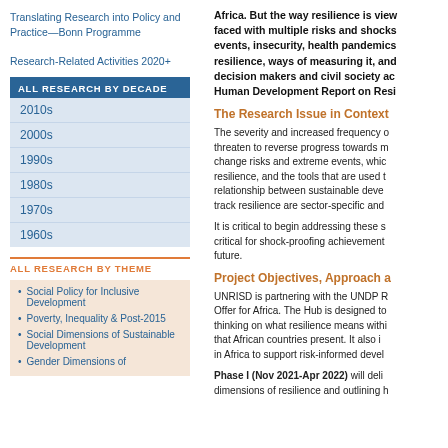Translating Research into Policy and Practice—Bonn Programme
Research-Related Activities 2020+
ALL RESEARCH BY DECADE
2010s
2000s
1990s
1980s
1970s
1960s
ALL RESEARCH BY THEME
Social Policy for Inclusive Development
Poverty, Inequality & Post-2015
Social Dimensions of Sustainable Development
Gender Dimensions of
Africa. But the way resilience is viewed faced with multiple risks and shocks events, insecurity, health pandemics resilience, ways of measuring it, and decision makers and civil society ac Human Development Report on Resi
The Research Issue in Context
The severity and increased frequency o threaten to reverse progress towards m change risks and extreme events, whic resilience, and the tools that are used t relationship between sustainable deve track resilience are sector-specific and
It is critical to begin addressing these s critical for shock-proofing achievement future.
Project Objectives, Approach a
UNRISD is partnering with the UNDP R Offer for Africa. The Hub is designed to thinking on what resilience means withi that African countries present. It also i in Africa to support risk-informed devel
Phase I (Nov 2021-Apr 2022) will deli dimensions of resilience and outlining h